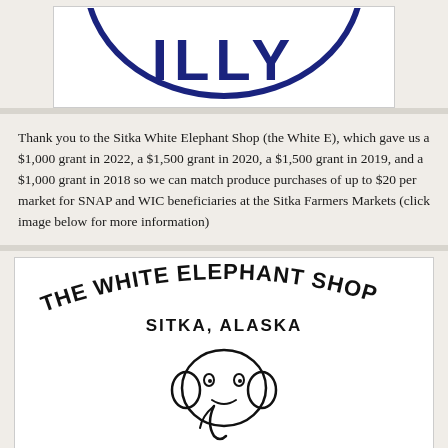[Figure (logo): Partial circular logo with dark navy blue text/lettering visible at top of page — only the bottom portion showing letters 'ILLY' within an oval/circle border]
Thank you to the Sitka White Elephant Shop (the White E), which gave us a $1,000 grant in 2022, a $1,500 grant in 2020, a $1,500 grant in 2019, and a $1,000 grant in 2018 so we can match produce purchases of up to $20 per market for SNAP and WIC beneficiaries at the Sitka Farmers Markets (click image below for more information)
[Figure (logo): The White Elephant Shop logo — black hand-drawn style text reading 'THE WHITE ELEPHANT SHOP' arched above 'SITKA, ALASKA' with a cartoon elephant face illustration below]